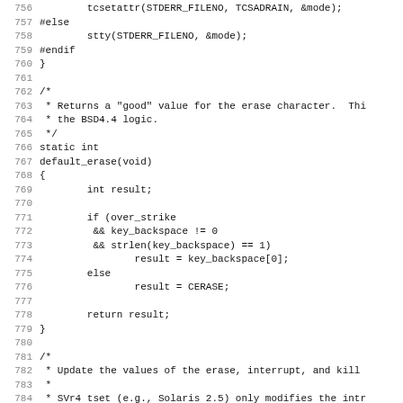Source code listing, lines 756-787, C code for tcsetattr, default_erase function, and update of erase/interrupt/kill characters.